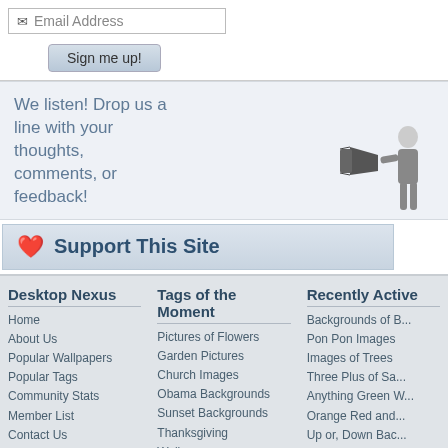[Figure (screenshot): Email address input box with envelope icon and text 'Email Address']
[Figure (screenshot): Sign me up! button with gray gradient styling]
We listen! Drop us a line with your thoughts, comments, or feedback!
[Figure (illustration): Black and white image of a man speaking into a megaphone]
[Figure (screenshot): Support This Site button with heart icon]
Desktop Nexus
Home
About Us
Popular Wallpapers
Popular Tags
Community Stats
Member List
Contact Us
Tags of the Moment
Pictures of Flowers
Garden Pictures
Church Images
Obama Backgrounds
Sunset Backgrounds
Thanksgiving Wallpapers
Christmas Wallpapers
Recently Active
Backgrounds of B...
Pon Pon Images
Images of Trees
Three Plus of Sa...
Anything Green W...
Orange Red and...
Up or, Down Bac...
Privacy Policy | Terms of Service | Partnerships | DMCA Copyright Violation
© Desktop Nexus - All rights reserved.
Page rendered with 6 queries (and 0 cached) in 0.108 seconds from server -23.